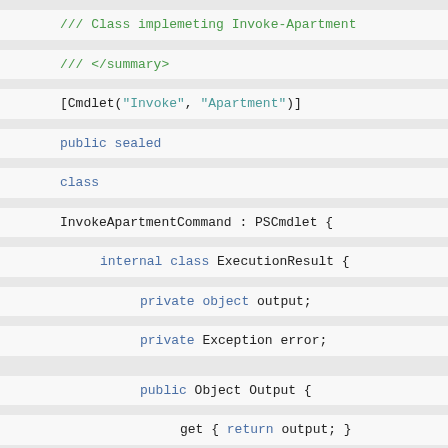/// Class implemeting Invoke-Apartment
/// </summary>
[Cmdlet("Invoke", "Apartment")]
public sealed
class
InvokeApartmentCommand : PSCmdlet {
internal class ExecutionResult {
private object output;
private Exception error;
public Object Output {
get { return output; }
set { output = value; }
}